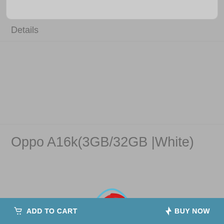[Figure (screenshot): Top portion of a product card partially visible, showing a phone image cropped at top]
Details
Oppo A16k(3GB/32GB |White)
[Figure (logo): Cheetah Mobile or similar app logo — red swirl shape with blue arc on grey background]
Specifications
Network Type
ADD TO CART   BUY NOW